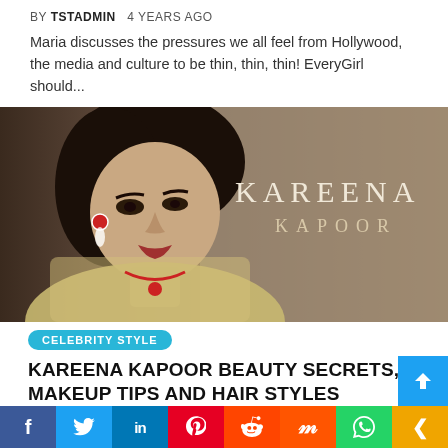BY TSTADMIN   4 YEARS AGO
Maria discusses the pressures we all feel from Hollywood, the media and culture to be thin, thin, thin! EveryGirl should...
[Figure (photo): Photo of Kareena Kapoor, a woman with dark hair in an updo wearing jewellery and a gold outfit, with the text 'KAREENA KAPOOR' on the right side]
CELEBRITY STYLE
KAREENA KAPOOR BEAUTY SECRETS, MAKEUP TIPS AND HAIR STYLES
BY TSTADMIN   4 YEARS AGO